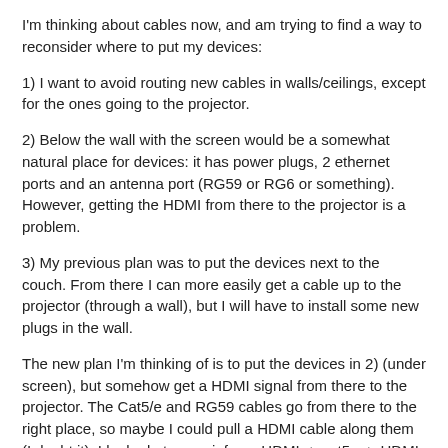I'm thinking about cables now, and am trying to find a way to reconsider where to put my devices:
1) I want to avoid routing new cables in walls/ceilings, except for the ones going to the projector.
2) Below the wall with the screen would be a somewhat natural place for devices: it has power plugs, 2 ethernet ports and an antenna port (RG59 or RG6 or something). However, getting the HDMI from there to the projector is a problem.
3) My previous plan was to put the devices next to the couch. From there I can more easily get a cable up to the projector (through a wall), but I will have to install some new plugs in the wall.
The new plan I'm thinking of is to put the devices in 2) (under screen), but somehow get a HDMI signal from there to the projector. The Cat5/e and RG59 cables go from there to the right place, so maybe I could pull a HDMI cable along them (I doubt it). I looked at some info on HDMI <- cat5e -> HDMI adapters, but some are saying they aren't any good.
Now I discovered something called HDBaseT, though, which seems to